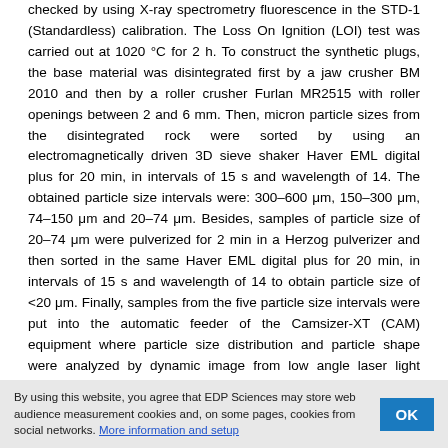checked by using X-ray spectrometry fluorescence in the STD-1 (Standardless) calibration. The Loss On Ignition (LOI) test was carried out at 1020 °C for 2 h. To construct the synthetic plugs, the base material was disintegrated first by a jaw crusher BM 2010 and then by a roller crusher Furlan MR2515 with roller openings between 2 and 6 mm. Then, micron particle sizes from the disintegrated rock were sorted by using an electromagnetically driven 3D sieve shaker Haver EML digital plus for 20 min, in intervals of 15 s and wavelength of 14. The obtained particle size intervals were: 300–600 μm, 150–300 μm, 74–150 μm and 20–74 μm. Besides, samples of particle size of 20–74 μm were pulverized for 2 min in a Herzog pulverizer and then sorted in the same Haver EML digital plus for 20 min, in intervals of 15 s and wavelength of 14 to obtain particle size of <20 μm. Finally, samples from the five particle size intervals were put into the automatic feeder of the Camsizer-XT (CAM) equipment where particle size distribution and particle shape were analyzed by dynamic image from low angle laser light scattering measurements.
2.3 Methodology to construct synthetic plugs
Two kinds of samples were constructed: samples of disk geometry (by
By using this website, you agree that EDP Sciences may store web audience measurement cookies and, on some pages, cookies from social networks. More information and setup